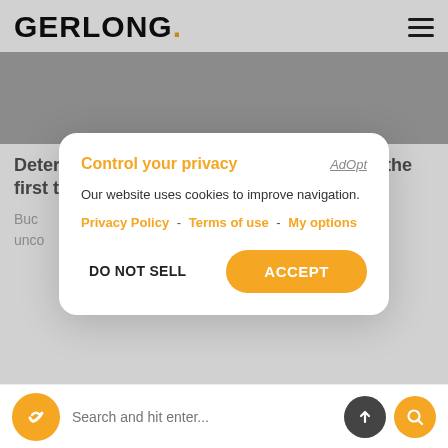GERLONG.
[Figure (photo): Gray hero image placeholder banner]
Determined to break away from Camila, for the first time,
Buc... hey unco... bay.
Control your privacy
AdOpt
Our website uses cookies to improve navigation.
Privacy Policy - Terms of use - My options
DO NOT SELL    ACCEPT